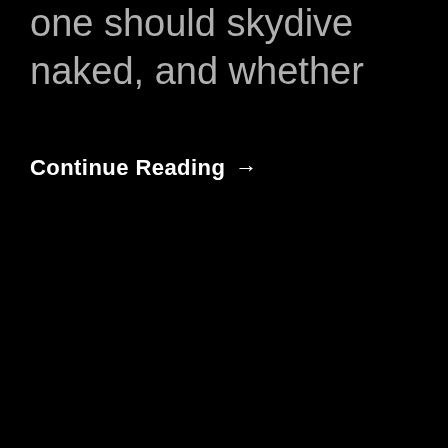one should skydive naked, and whether
Continue Reading →